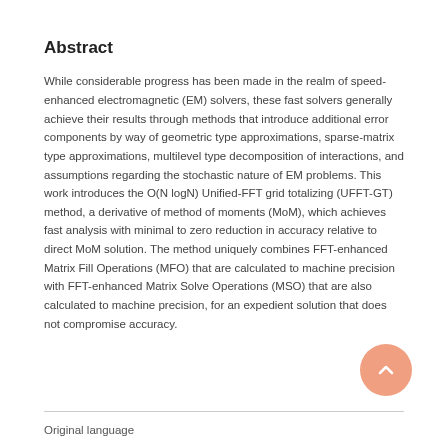Abstract
While considerable progress has been made in the realm of speed-enhanced electromagnetic (EM) solvers, these fast solvers generally achieve their results through methods that introduce additional error components by way of geometric type approximations, sparse-matrix type approximations, multilevel type decomposition of interactions, and assumptions regarding the stochastic nature of EM problems. This work introduces the O(N logN) Unified-FFT grid totalizing (UFFT-GT) method, a derivative of method of moments (MoM), which achieves fast analysis with minimal to zero reduction in accuracy relative to direct MoM solution. The method uniquely combines FFT-enhanced Matrix Fill Operations (MFO) that are calculated to machine precision with FFT-enhanced Matrix Solve Operations (MSO) that are also calculated to machine precision, for an expedient solution that does not compromise accuracy.
Original language